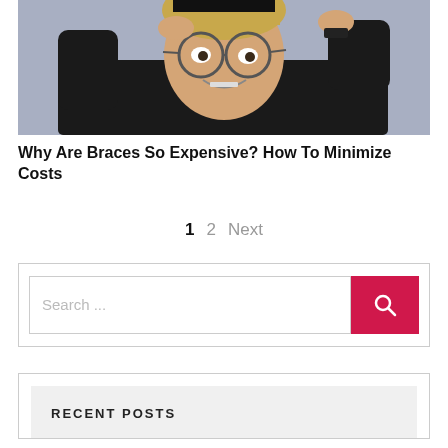[Figure (photo): Young person with glasses and braces, hands on head, smiling, against a light blue-grey background, wearing a dark jacket.]
Why Are Braces So Expensive? How To Minimize Costs
1   2   Next
Search ...
RECENT POSTS